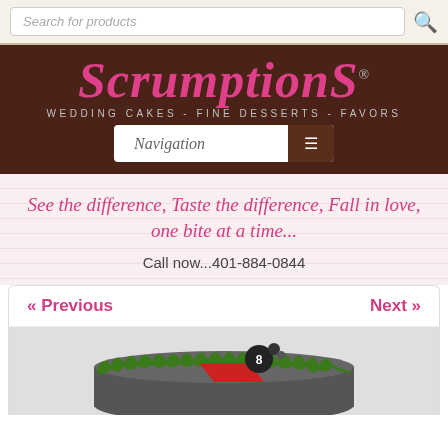Search for products
[Figure (logo): Scrumptions logo with text SCRUMPTIONS® and subtitle WEDDING CAKES - FINE DESSERTS - FAVORS on dark brown background]
Navigation
See the difference, Taste the difference, Fall in love, one bite at a time...
Call now...401-884-0844
« Previous
Next »
[Figure (photo): Photo of a decorated cake with green grass frosting and red/dark decorations on a light background]